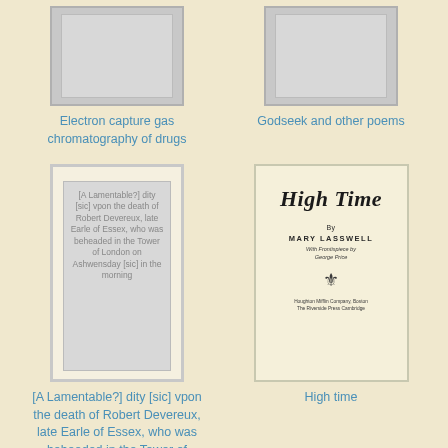[Figure (illustration): Book cover placeholder (gray rectangle) for Electron capture gas chromatography of drugs]
Electron capture gas chromatography of drugs
[Figure (illustration): Book cover placeholder (gray rectangle) for Godseek and other poems]
Godseek and other poems
[Figure (illustration): Book cover showing text: [A Lamentable?] dity [sic] vpon the death of Robert Devereux, late Earle of Essex, who was beheaded in the Tower of London on Ashwensday [sic] in the morning]
[A Lamentable?] dity [sic] vpon the death of Robert Devereux, late Earle of Essex, who was beheaded in the Tower of London on Ashwensday [sic] in the morning
[Figure (illustration): Book cover for High Time by Mary Lasswell with frontispiece by George Price, published by Houghton Mifflin Company Boston]
High time